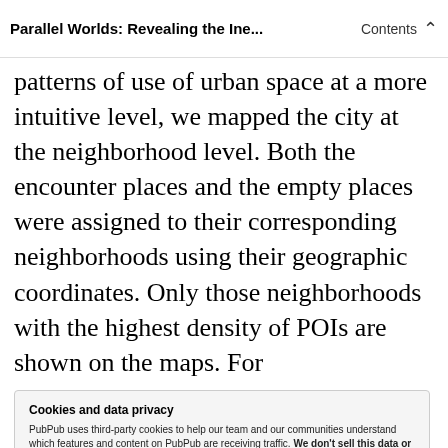Parallel Worlds: Revealing the Ine... | Contents
patterns of use of urban space at a more intuitive level, we mapped the city at the neighborhood level. Both the encounter places and the empty places were assigned to their corresponding neighborhoods using their geographic coordinates. Only those neighborhoods with the highest density of POIs are shown on the maps. For
Cookies and data privacy
PubPub uses third-party cookies to help our team and our communities understand which features and content on PubPub are receiving traffic. We don't sell this data or share it with anyone else, and we don't use third-party processors who aggregate and sell data. Visit your privacy settings to learn more.
contained the 50% of POIs of the upper